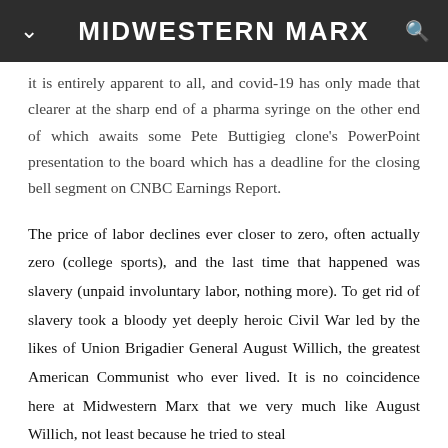MIDWESTERN MARX
it is entirely apparent to all, and covid-19 has only made that clearer at the sharp end of a pharma syringe on the other end of which awaits some Pete Buttigieg clone's PowerPoint presentation to the board which has a deadline for the closing bell segment on CNBC Earnings Report.
The price of labor declines ever closer to zero, often actually zero (college sports), and the last time that happened was slavery (unpaid involuntary labor, nothing more). To get rid of slavery took a bloody yet deeply heroic Civil War led by the likes of Union Brigadier General August Willich, the greatest American Communist who ever lived. It is no coincidence here at Midwestern Marx that we very much like August Willich, not least because he tried to steal